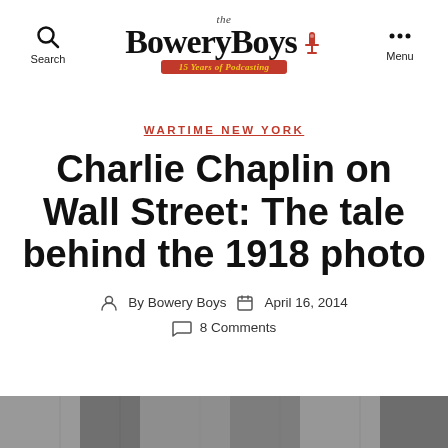the BoweryBoys 15 Years of Podcasting — Search / Menu
WARTIME NEW YORK
Charlie Chaplin on Wall Street: The tale behind the 1918 photo
By Bowery Boys   April 16, 2014   8 Comments
[Figure (photo): Grayscale historical photo strip at the bottom of the page, partially visible]